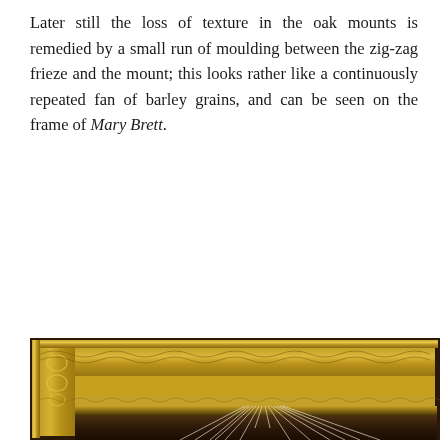Later still the loss of texture in the oak mounts is remedied by a small run of moulding between the zig-zag frieze and the mount; this looks rather like a continuously repeated fan of barley grains, and can be seen on the frame of Mary Brett.
[Figure (photo): Close-up photograph of an ornate gilded picture frame corner showing decorative moulding with zig-zag frieze, scrollwork, and fan/barley-grain patterns. Inside the frame is visible a dark painting depicting what appears to be a dark animal (possibly a cow or bull) with radiating white lines suggesting light or feathers in the background.]